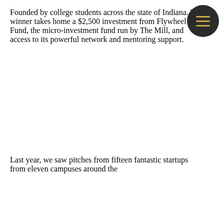Founded by college students across the state of Indiana. The winner takes home a $2,500 investment from Flywheel Fund, the micro-investment fund run by The Mill, and access to its powerful network and mentoring support.
Last year, we saw pitches from fifteen fantastic startups from eleven campuses around the